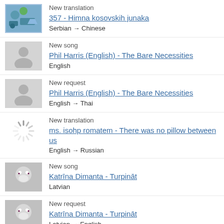New translation
357 - Himna kosovskih junaka
Serbian → Chinese
New song
Phil Harris (English) - The Bare Necessities
English
New request
Phil Harris (English) - The Bare Necessities
English → Thai
New translation
ms. isohp romatem - There was no pillow between us
English → Russian
New song
Katrīna Dimanta - Turpināt
Latvian
New request
Katrīna Dimanta - Turpināt
Latvian → English